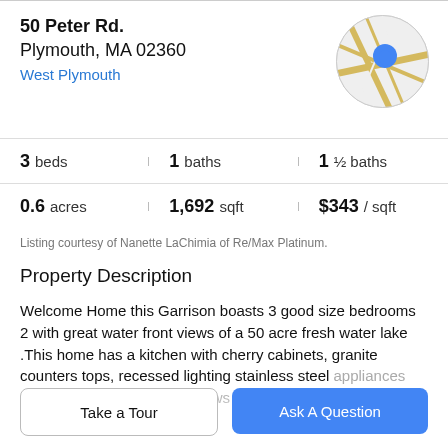50 Peter Rd.
Plymouth, MA 02360
West Plymouth
[Figure (map): Circular map thumbnail showing street map with a blue location pin marker]
3 beds | 1 baths | 1 ½ baths | 0.6 acres | 1,692 sqft | $343 / sqft
Listing courtesy of Nanette LaChimia of Re/Max Platinum.
Property Description
Welcome Home this Garrison boasts 3 good size bedrooms 2 with great water front views of a 50 acre fresh water lake .This home has a kitchen with cherry cabinets, granite counters tops, recessed lighting stainless steel appliances and tile floor. Spectacular views of Pinewood...